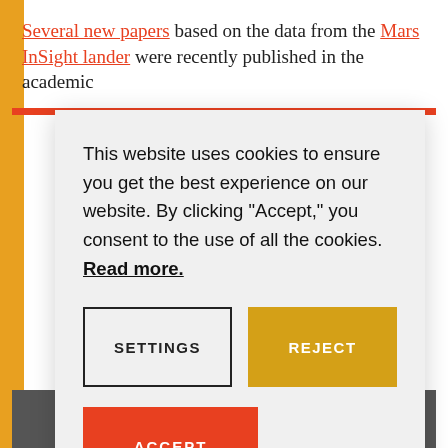Several new papers based on the data from the Mars InSight lander were recently published in the academic j...
This website uses cookies to ensure you get the best experience on our website. By clicking "Accept," you consent to the use of all the cookies. Read more.
SETTINGS
REJECT
ACCEPT